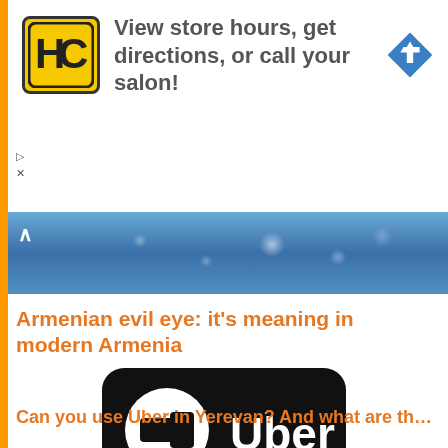[Figure (other): Advertisement banner: HC salon logo (yellow square with HC letters), text 'View store hours, get directions, or call your salon!', blue diamond navigation arrow icon on right. Small play and X controls on left.]
[Figure (photo): Photo strip showing blue and white decorative items/ornaments, possibly evil eye beads or decorations. Chevron up arrow on left.]
Armenian evil eye: it’s meaning in modern Armenia
[Figure (logo): Uber app logo on black rounded rectangle background, with Armenian flag (red, blue, orange stripes) overlaid at the bottom center.]
Can you use Uber in Yerevan? And what are th…